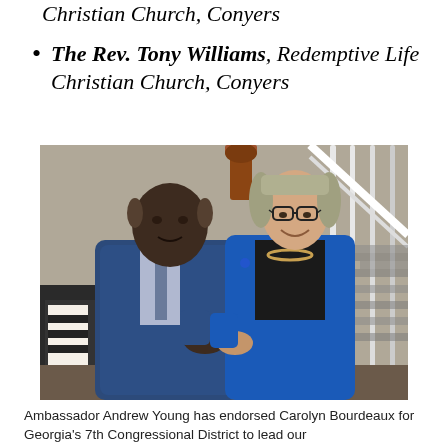Christian Church, Conyers
The Rev. Tony Williams, Redemptive Life Christian Church, Conyers
[Figure (photo): Two people shaking hands on a staircase. An older man in a blue plaid blazer and a woman in a bright blue blazer wearing glasses and a beaded necklace.]
Ambassador Andrew Young has endorsed Carolyn Bourdeaux for Georgia's 7th Congressional District to lead our...